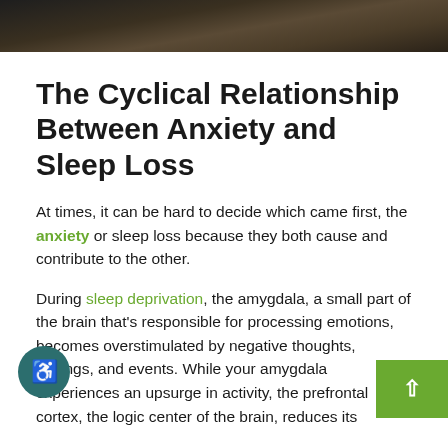[Figure (photo): Dark landscape/nature banner image at the top of the page with muted earth tones]
The Cyclical Relationship Between Anxiety and Sleep Loss
At times, it can be hard to decide which came first, the anxiety or sleep loss because they both cause and contribute to the other.
During sleep deprivation, the amygdala, a small part of the brain that's responsible for processing emotions, becomes overstimulated by negative thoughts, feelings, and events. While your amygdala experiences an upsurge in activity, the prefrontal cortex, the logic center of the brain, reduces its activity and slows down.